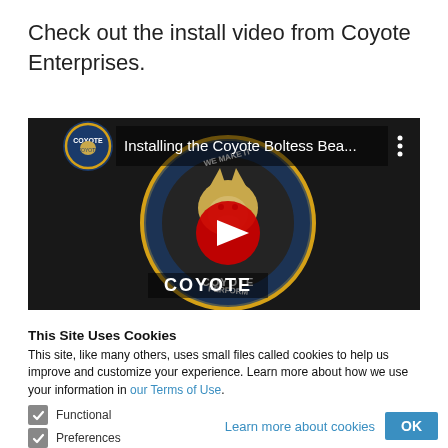Check out the install video from Coyote Enterprises.
[Figure (screenshot): YouTube video thumbnail showing 'Installing the Coyote Boltess Bea...' with Coyote Enterprises logo and red play button on dark background with circular logo overlay saying WE MAKE IT PERFORM.]
This Site Uses Cookies
This site, like many others, uses small files called cookies to help us improve and customize your experience. Learn more about how we use your information in our Terms of Use.
Functional
Preferences
Analytics
Marketing
Learn more about cookies
OK